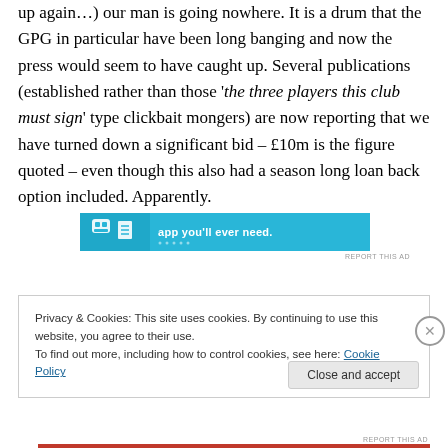up again…) our man is going nowhere. It is a drum that the GPG in particular have been long banging and now the press would seem to have caught up. Several publications (established rather than those 'the three players this club must sign' type clickbait mongers) are now reporting that we have turned down a significant bid – £10m is the figure quoted – even though this also had a season long loan back option included. Apparently.
[Figure (other): Blue advertisement banner with white text reading 'app you'll ever need.' and a robot/app icon on the left]
Privacy & Cookies: This site uses cookies. By continuing to use this website, you agree to their use.
To find out more, including how to control cookies, see here: Cookie Policy